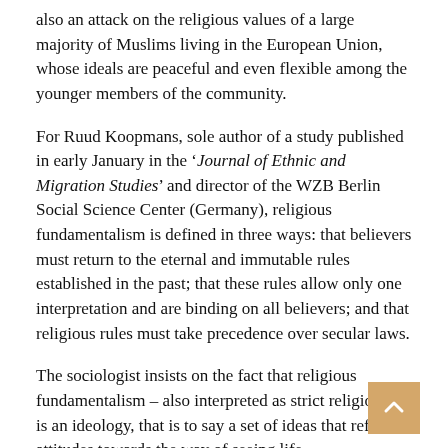also an attack on the religious values of a large majority of Muslims living in the European Union, whose ideals are peaceful and even flexible among the younger members of the community.
For Ruud Koopmans, sole author of a study published in early January in the 'Journal of Ethnic and Migration Studies' and director of the WZB Berlin Social Science Center (Germany), religious fundamentalism is defined in three ways: that believers must return to the eternal and immutable rules established in the past; that these rules allow only one interpretation and are binding on all believers; and that religious rules must take precedence over secular laws.
The sociologist insists on the fact that religious fundamentalism – also interpreted as strict religiosity – is an ideology, that is to say a set of ideas that refer to attitudes towards the way of seeing life.
“Fundamentalism does not necessarily include or justify